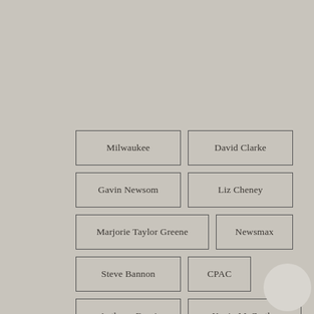Milwaukee
David Clarke
Gavin Newsom
Liz Cheney
Marjorie Taylor Greene
Newsmax
Steve Bannon
CPAC
Anthony Fauci
Kevin McCarthy
Eric Swalwell
Tucker Carlson